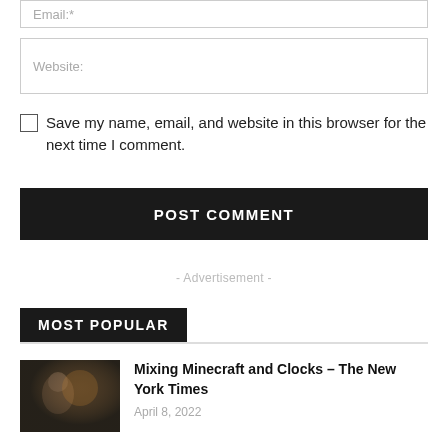Email:*
Website:
Save my name, email, and website in this browser for the next time I comment.
POST COMMENT
- Advertisement -
MOST POPULAR
[Figure (photo): Dark photo of a person in dimly lit environment]
Mixing Minecraft and Clocks – The New York Times
April 8, 2022